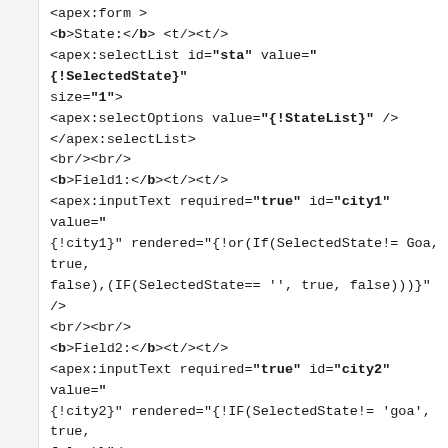<apex:form >
<b>State:</b> <t/><t/>
<apex:selectList id="sta" value="{!SelectedState}" size="1">
<apex:selectOptions value="{!StateList}" />
</apex:selectList>
<br/><br/>
<b>Field1:</b><t/><t/>
<apex:inputText required="true" id="city1" value="{!city1}" rendered="{!or(If(SelectedState!= Goa, true, false),(IF(SelectedState== '', true, false)))}" />
<br/><br/>
<b>Field2:</b><t/><t/>
<apex:inputText required="true" id="city2" value="{!city2}" rendered="{!IF(SelectedState!= 'goa', true, false)}"/>
<br/><br/>
<b>Field3:</b><t/><t/>
<apex:inputText required="true" id="city3" value="{!city3}" rendered="{!if(SelectedState!='Maharashtra',true, false)} "/>